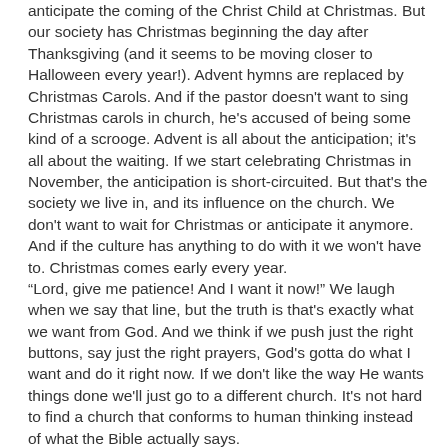anticipate the coming of the Christ Child at Christmas.  But our society has Christmas beginning the day after Thanksgiving (and it seems to be moving closer to Halloween every year!).  Advent hymns are replaced by Christmas Carols.  And if the pastor doesn't want to sing Christmas carols in church, he's accused of being some kind of a scrooge.  Advent is all about the anticipation; it's all about the waiting.  If we start celebrating Christmas in November, the anticipation is short-circuited.  But that's the society we live in, and its influence on the church.  We don't want to wait for Christmas or anticipate it anymore.  And if the culture has anything to do with it we won't have to.  Christmas comes early every year.
“Lord, give me patience!  And I want it now!” We laugh when we say that line, but the truth is that's exactly what we want from God.  And we think if we push just the right buttons, say just the right prayers, God's gotta do what I want and do it right now.  If we don't like the way He wants things done we'll just go to a different church.  It's not hard to find a church that conforms to human thinking instead of what the Bible actually says.
We are hardly alone in our lack of wanting to wait.  Think of